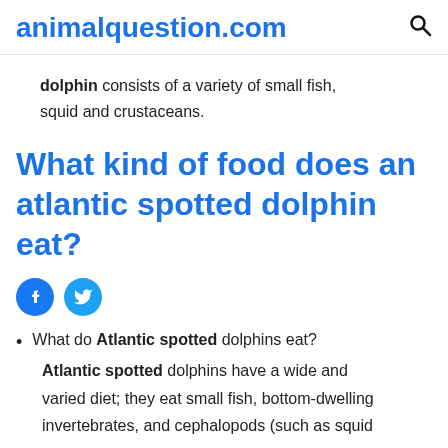animalquestion.com
dolphin consists of a variety of small fish, squid and crustaceans.
What kind of food does an atlantic spotted dolphin eat?
[Figure (other): Social media share icons: Facebook (blue circle with f) and Twitter (light blue circle with bird)]
What do Atlantic spotted dolphins eat? Atlantic spotted dolphins have a wide and varied diet; they eat small fish, bottom-dwelling invertebrates, and cephalopods (such as squid